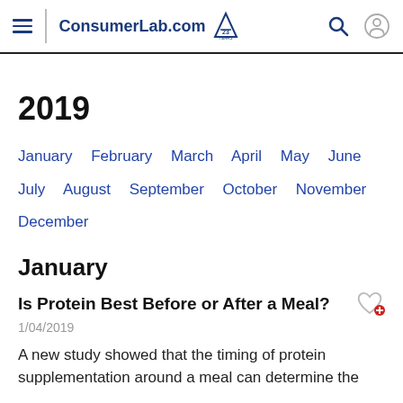ConsumerLab.com 23 YEARS
2019
January  February  March  April  May  June  July  August  September  October  November  December
January
Is Protein Best Before or After a Meal?
1/04/2019
A new study showed that the timing of protein supplementation around a meal can determine the